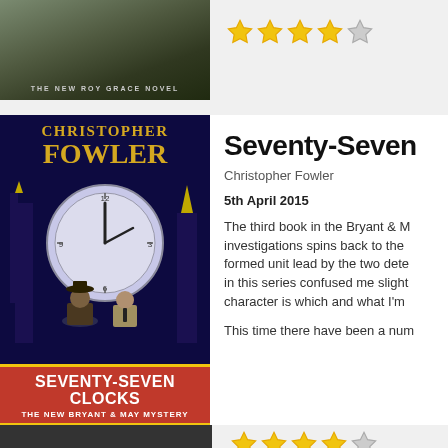[Figure (other): Partial book cover for a Roy Grace novel at top of page]
[Figure (other): Star rating: 4 out of 5 gold stars for previous book]
[Figure (illustration): Book cover for Seventy-Seven Clocks by Christopher Fowler - The New Bryant & May Mystery, showing two detectives against Big Ben clock face, dark blue background]
Seventy-Seven
Christopher Fowler
5th April 2015
The third book in the Bryant & May investigations spins back to the formed unit lead by the two dete in this series confused me slight character is which and what I'm
This time there have been a num
[Figure (other): Star rating: 4 out of 5 gold stars for Seventy-Seven Clocks]